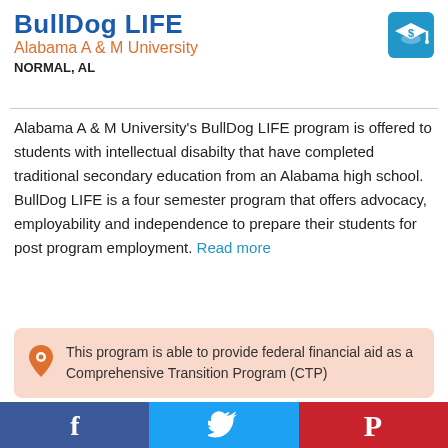BullDog LIFE
Alabama A & M University
NORMAL, AL
Alabama A & M University's BullDog LIFE program is offered to students with intellectual disabilty that have completed traditional secondary education from an Alabama high school. BullDog LIFE is a four semester program that offers advocacy, employability and independence to prepare their students for post program employment. Read more
This program is able to provide federal financial aid as a Comprehensive Transition Program (CTP)
Facebook | Twitter | Pinterest